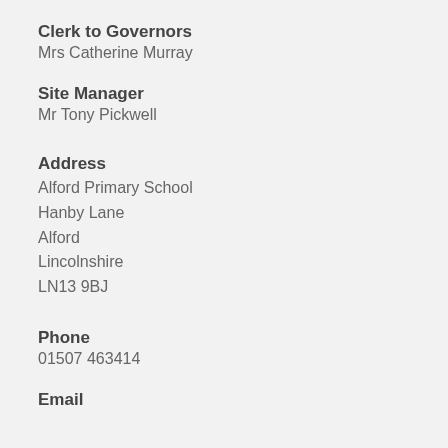Clerk to Governors
Mrs Catherine Murray
Site Manager
Mr Tony Pickwell
Address
Alford Primary School
Hanby Lane
Alford
Lincolnshire
LN13 9BJ
Phone
01507 463414
Email